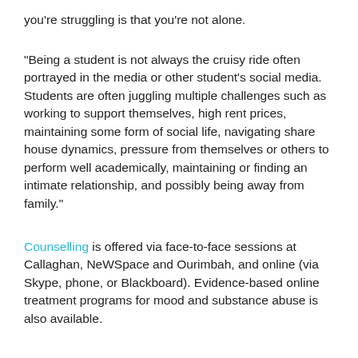you're struggling is that you're not alone.
"Being a student is not always the cruisy ride often portrayed in the media or other student's social media. Students are often juggling multiple challenges such as working to support themselves, high rent prices, maintaining some form of social life, navigating share house dynamics, pressure from themselves or others to perform well academically, maintaining or finding an intimate relationship, and possibly being away from family."
Counselling is offered via face-to-face sessions at Callaghan, NeWSpace and Ourimbah, and online (via Skype, phone, or Blackboard). Evidence-based online treatment programs for mood and substance abuse is also available.